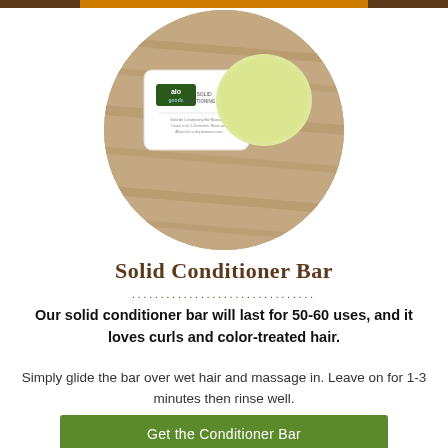[Figure (photo): Circular cropped photo showing alo goods solid conditioner bar product — a white paper-wrapped bar and a round yellowish-green conditioner bar on a wooden surface]
Solid Conditioner Bar
Our solid conditioner bar will last for 50-60 uses, and it loves curls and color-treated hair.
Simply glide the bar over wet hair and massage in. Leave on for 1-3 minutes then rinse well.
Get the Conditioner Bar